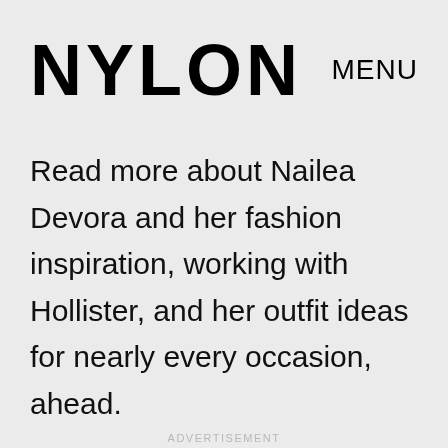NYLON   MENU
Read more about Nailea Devora and her fashion inspiration, working with Hollister, and her outfit ideas for nearly every occasion, ahead.
ADVERTISEMENT